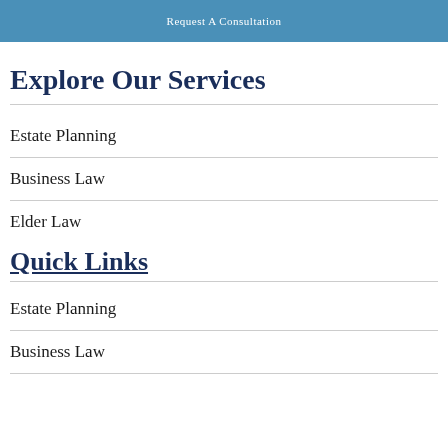Request A Consultation
Explore Our Services
Estate Planning
Business Law
Elder Law
Quick Links
Estate Planning
Business Law